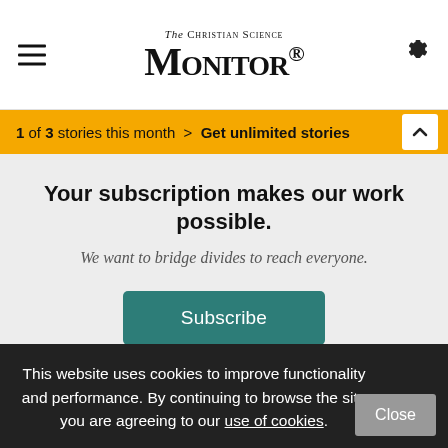The Christian Science Monitor
1 of 3 stories this month > Get unlimited stories
Your subscription makes our work possible.
We want to bridge divides to reach everyone.
Subscribe
Parliament, the French handed a major rebuke to their left-wing government without totally installing the
This website uses cookies to improve functionality and performance. By continuing to browse the site you are agreeing to our use of cookies.